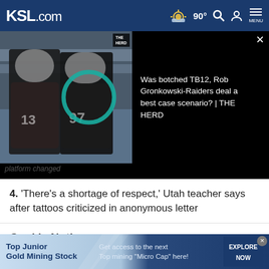KSL.com  90°  [search] [account] MENU
[Figure (screenshot): Video thumbnail showing two Tampa Bay Buccaneers football players in dark jerseys, one circled with a teal ring, with 'THE HERD' badge. Black panel beside shows headline: Was botched TB12, Rob Gronkowski-Raiders deal a best case scenario? | THE HERD]
platform changed
4. 'There's a shortage of respect,' Utah teacher says after tattoos criticized in anonymous letter
Cookie Notice
We use cookies to improve your experience, analyze site traffic, and to personalize content and ads. By continuing to use our site, you consent to our use of cookies. Please visit our Terms of Use and  Privacy Policy for more information
[Figure (other): Advertisement banner: Top Junior Gold Mining Stock — Get access to the next Top mining "Micro Cap" here! — EXPLORE NOW]